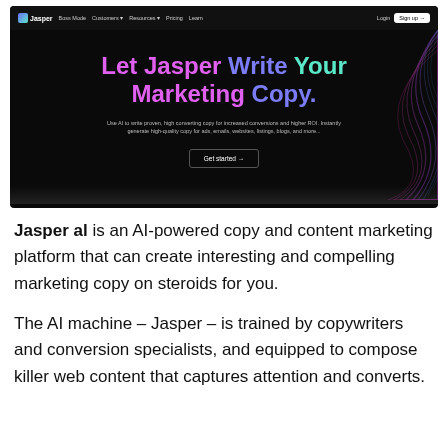[Figure (screenshot): Screenshot of the Jasper AI website homepage showing navigation bar and dark hero section with colorful gradient headline 'Let Jasper Write Your Marketing Copy.' with subtext and a 'Get started →' button, plus a decorative purple/teal wave graphic on the right side.]
Jasper al is an AI-powered copy and content marketing platform that can create interesting and compelling marketing copy on steroids for you.
The AI machine – Jasper – is trained by copywriters and conversion specialists, and equipped to compose killer web content that captures attention and converts.